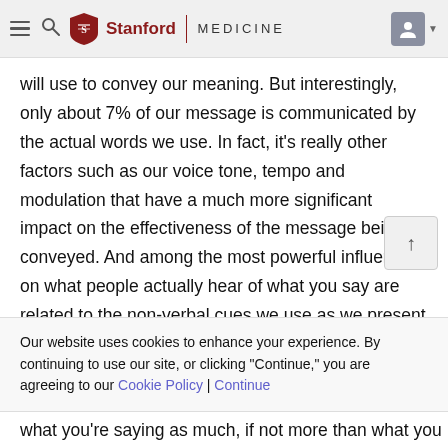Stanford Medicine
will use to convey our meaning. But interestingly, only about 7% of our message is communicated by the actual words we use. In fact, it's really other factors such as our voice tone, tempo and modulation that have a much more significant impact on the effectiveness of the message being conveyed. And among the most powerful influences on what people actually hear of what you say are related to the non-verbal cues we use as we present the information, it may be our posture, our body language, and actually most significantly our use of eye contact.
Our website uses cookies to enhance your experience. By continuing to use our site, or clicking "Continue," you are agreeing to our Cookie Policy | Continue
what you're saying as much, if not more than what you